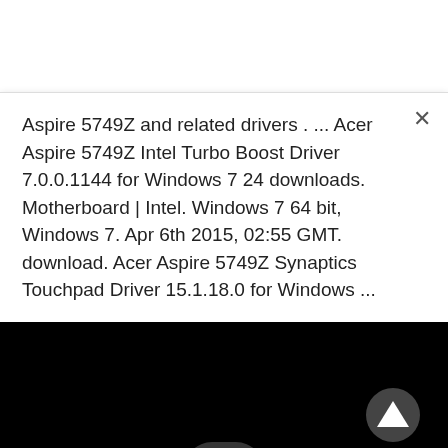Aspire 5749Z and related drivers . ... Acer Aspire 5749Z Intel Turbo Boost Driver 7.0.0.1144 for Windows 7 24 downloads. Motherboard | Intel. Windows 7 64 bit, Windows 7. Apr 6th 2015, 02:55 GMT. download. Acer Aspire 5749Z Synaptics Touchpad Driver 15.1.18.0 for Windows ...
[Figure (screenshot): Dark/black media panel with a circular play button (upward triangle) in the lower right and a dark semi-circular bump at the bottom center.]
[Figure (infographic): Social sharing bar with six colored buttons: Twitter (blue, bird icon), Gmail (grey, M icon), Pinterest (red, P icon), LinkedIn (blue, in icon), WhatsApp (green, phone icon), Line (green, speech bubble icon).]